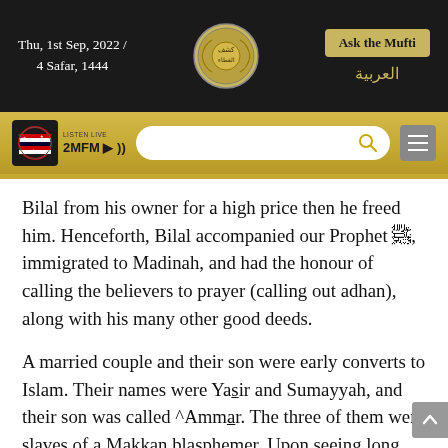Thu, 1st Sep, 2022 / 4 Safar, 1444
Ask the Mufti | العربية
Bilal from his owner for a high price then he freed him. Henceforth, Bilal accompanied our Prophet ﷺ, immigrated to Madinah, and had the honour of calling the believers to prayer (calling out adhan), along with his many other good deeds.
A married couple and their son were early converts to Islam. Their names were Yasir and Sumayyah, and their son was called ^Ammar. The three of them were slaves of a Makkan blasphemer. Upon seeing long, merciless torture inflicted upon them by their